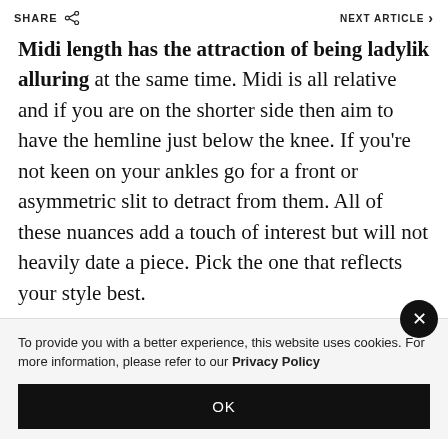SHARE   NEXT ARTICLE >
Midi length has the attraction of being ladylike and alluring at the same time. Midi is all relative and if you are on the shorter side then aim to have the hemline just below the knee. If you’re not keen on your ankles go for a front or asymmetric slit to detract from them. All of these nuances add a touch of interest but will not heavily date a piece. Pick the one that reflects your style best.
To provide you with a better experience, this website uses cookies. For more information, please refer to our Privacy Policy
OK